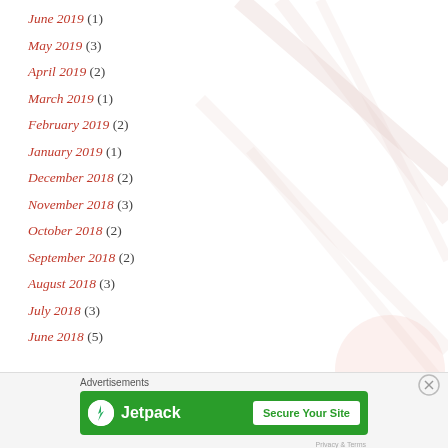June 2019 (1)
May 2019 (3)
April 2019 (2)
March 2019 (1)
February 2019 (2)
January 2019 (1)
December 2018 (2)
November 2018 (3)
October 2018 (2)
September 2018 (2)
August 2018 (3)
July 2018 (3)
June 2018 (5)
[Figure (screenshot): Jetpack advertisement banner with green background, Jetpack logo on left and 'Secure Your Site' button on right. Preceded by 'Advertisements' label.]